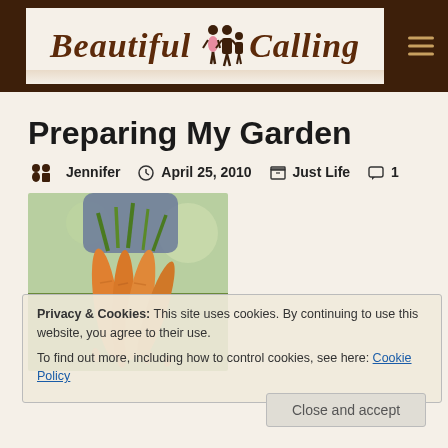Beautiful Calling
Preparing My Garden
Jennifer  April 25, 2010  Just Life  1
[Figure (photo): A person holding a bunch of fresh carrots with green tops, outdoors with blurred background.]
Privacy & Cookies: This site uses cookies. By continuing to use this website, you agree to their use.
To find out more, including how to control cookies, see here: Cookie Policy
Close and accept